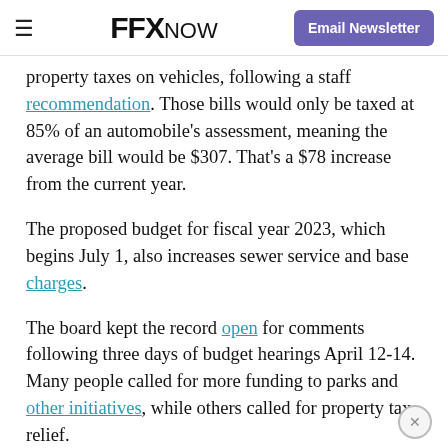FFX NOW | Email Newsletter
property taxes on vehicles, following a staff recommendation. Those bills would only be taxed at 85% of an automobile's assessment, meaning the average bill would be $307. That's a $78 increase from the current year.
The proposed budget for fiscal year 2023, which begins July 1, also increases sewer service and base charges.
The board kept the record open for comments following three days of budget hearings April 12-14. Many people called for more funding to parks and other initiatives, while others called for property tax relief.
The board is also moving to provide higher compensation increases than what County Executive Bryan Hill included in the advertised budget released in